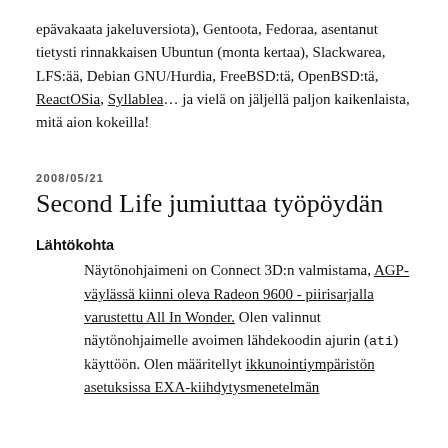epävakaata jakeluversiota), Gentoota, Fedoraa, asentanut tietysti rinnakkaisen Ubuntun (monta kertaa), Slackwarea, LFS:ää, Debian GNU/Hurdia, FreeBSD:tä, OpenBSD:tä, ReactOSia, Syllablea… ja vielä on jäljellä paljon kaikenlaista, mitä aion kokeilla!
2008/05/21
Second Life jumiuttaa työpöydän
Lähtökohta
Näytönohjaimeni on Connect 3D:n valmistama, AGP-väylässä kiinni oleva Radeon 9600 - piirisarjalla varustettu All In Wonder. Olen valinnut näytönohjaimelle avoimen lähdekoodin ajurin (ati) käyttöön. Olen määritellyt ikkunointiympäristön asetuksissa EXA-kiihdytysmenetelmän